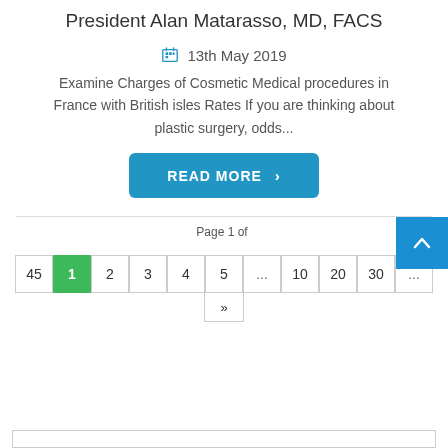President Alan Matarasso, MD, FACS
13th May 2019
Examine Charges of Cosmetic Medical procedures in France with British isles Rates If you are thinking about plastic surgery, odds...
READ MORE >
Page 1 of
45  1  2  3  4  5  ...  10  20  30  ...
»